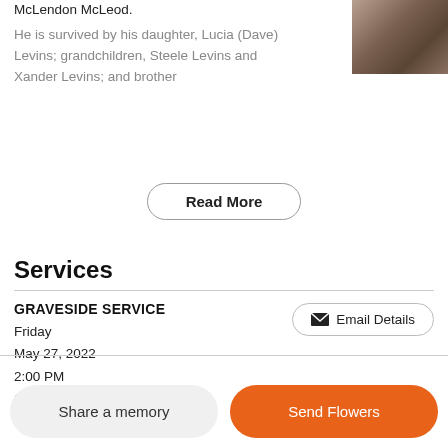McLendon McLeod.
He is survived by his daughter, Lucia (Dave) Levins; grandchildren, Steele Levins and Xander Levins; and brother
[Figure (photo): A dark brown decorative or memorial sculpture/figure in the top right corner]
Read More
Services
GRAVESIDE SERVICE
Friday
May 27, 2022
2:00 PM
Camden Cemetery, Selma
Email Details
Share a memory
Send Flowers